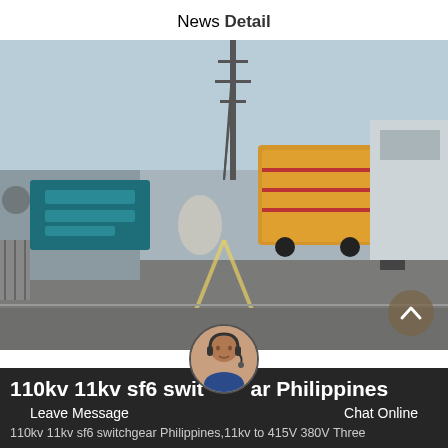News Detail
[Figure (photo): A truck entering a facility gate with Chinese signage on a teal/green board, industrial buildings and a transmission tower in the background. Road view from behind the truck.]
110kv 11kv sf6 switchgear Philippines
Leave Message   Chat Online
110kv 11kv sf6 switchgear Philippines,11kv to 415V 380V Three